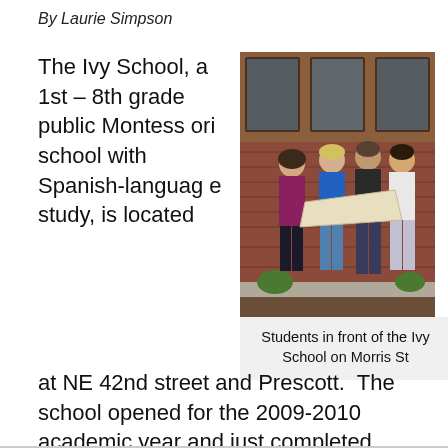By Laurie Simpson
The Ivy School, a 1st – 8th grade public Montessori school with Spanish-language study, is located at NE 42nd street and Prescott.  The school opened for the 2009-2010 academic year and just completed
[Figure (photo): Four students standing in front of the Ivy School on Morris St, looking at a large piece of paper together. The school has brick walls and large windows.]
Students in front of the Ivy School on Morris St